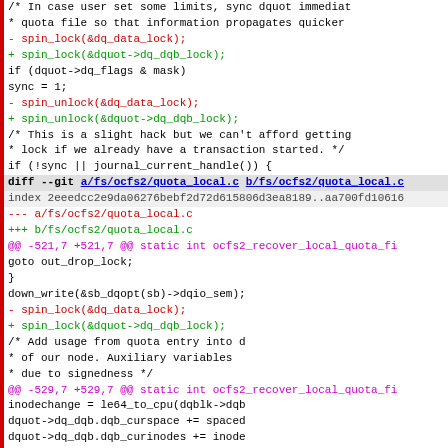/* In case user set some limits, sync dquot immediat
 * quota file so that information propagates quicker
-        spin_lock(&dq_data_lock);
+        spin_lock(&dquot->dq_dqb_lock);
if (dquot->dq_flags & mask)
                 sync = 1;
-        spin_unlock(&dq_data_lock);
+        spin_unlock(&dquot->dq_dqb_lock);
/* This is a slight hack but we can't afford getting
          * lock if we already have a transaction started. */
         if (!sync || journal_current_handle()) {
diff --git a/fs/ocfs2/quota_local.c b/fs/ocfs2/quota_local.c
index 2eeedcc2e9da06276bebf2d72d615806d3ea8189..aa700fd10616
--- a/fs/ocfs2/quota_local.c
+++ b/fs/ocfs2/quota_local.c
@@ -521,7 +521,7 @@ static int ocfs2_recover_local_quota_fi
goto out_drop_lock;
                         }
                         down_write(&sb_dqopt(sb)->dqio_sem);
-                        spin_lock(&dq_data_lock);
+                        spin_lock(&dquot->dq_dqb_lock);
/* Add usage from quota entry into d
                          * of our node. Auxiliary variables
                          * due to signedness */
@@ -529,7 +529,7 @@ static int ocfs2_recover_local_quota_fi
inodechange = le64_to_cpu(dqblk->dqb
                         dquot->dq_dqb.dqb_curspace += spaced
                         dquot->dq_dqb.dqb_curinodes += inode
-                        spin_unlock(&dq_data_lock);
+                        spin_unlock(&dquot->dq_dqb_lock);